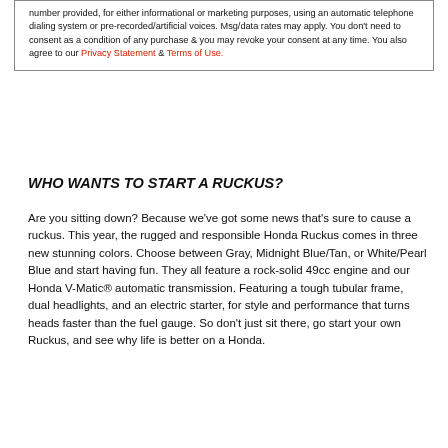number provided, for either informational or marketing purposes, using an automatic telephone dialing system or pre-recorded/artificial voices. Msg/data rates may apply. You don't need to consent as a condition of any purchase & you may revoke your consent at any time. You also agree to our Privacy Statement & Terms of Use.
WHO WANTS TO START A RUCKUS?
Are you sitting down? Because we've got some news that's sure to cause a ruckus. This year, the rugged and responsible Honda Ruckus comes in three new stunning colors. Choose between Gray, Midnight Blue/Tan, or White/Pearl Blue and start having fun. They all feature a rock-solid 49cc engine and our Honda V-Matic® automatic transmission. Featuring a tough tubular frame, dual headlights, and an electric starter, for style and performance that turns heads faster than the fuel gauge. So don't just sit there, go start your own Ruckus, and see why life is better on a Honda.